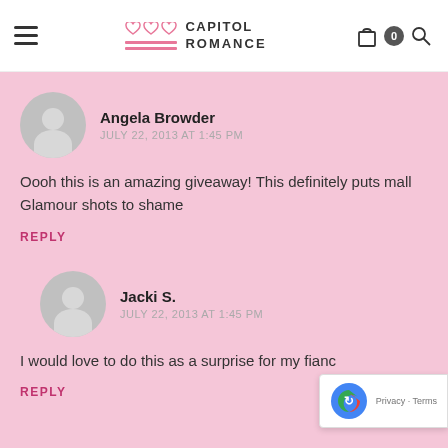Capitol Romance
Angela Browder
JULY 22, 2013 AT 1:45 PM
Oooh this is an amazing giveaway! This definitely puts mall Glamour shots to shame
REPLY
Jacki S.
JULY 22, 2013 AT 1:45 PM
I would love to do this as a surprise for my fianc